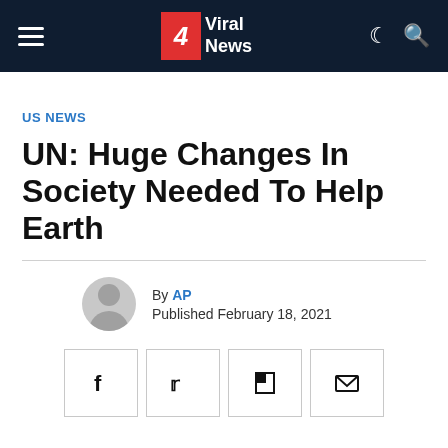4 Viral News
US NEWS
UN: Huge Changes In Society Needed To Help Earth
By AP
Published February 18, 2021
[Figure (other): Social share buttons: Facebook, Twitter, Flipboard, Email]